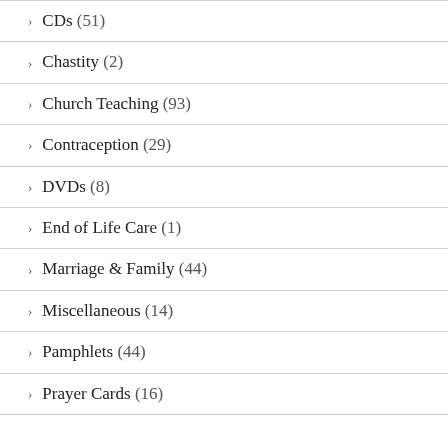CDs (51)
Chastity (2)
Church Teaching (93)
Contraception (29)
DVDs (8)
End of Life Care (1)
Marriage & Family (44)
Miscellaneous (14)
Pamphlets (44)
Prayer Cards (16)